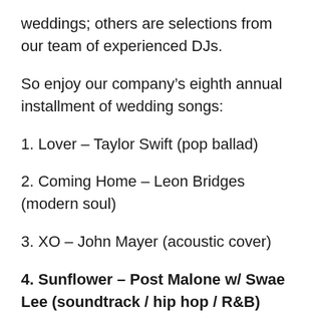weddings; others are selections from our team of experienced DJs.
So enjoy our company’s eighth annual installment of wedding songs:
1. Lover – Taylor Swift (pop ballad)
2. Coming Home – Leon Bridges (modern soul)
3. XO – John Mayer (acoustic cover)
4. Sunflower – Post Malone w/ Swae Lee (soundtrack / hip hop / R&B)